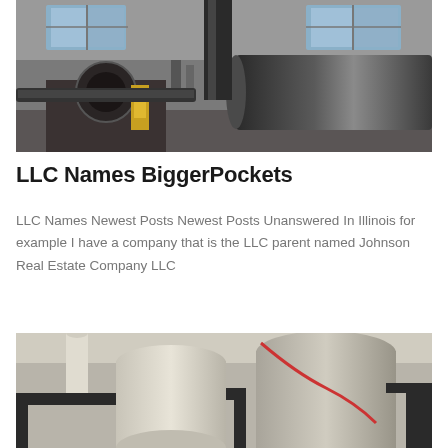[Figure (photo): Industrial machinery interior showing large metal cylinders, pipes, and mechanical components in a factory or plant setting with windows in the background.]
LLC Names BiggerPockets
LLC Names Newest Posts Newest Posts Unanswered In Illinois for example I have a company that is the LLC parent named Johnson Real Estate Company LLC
[Figure (photo): Industrial equipment showing large white cylindrical ducts or pipes with metal structural framework in an industrial facility.]